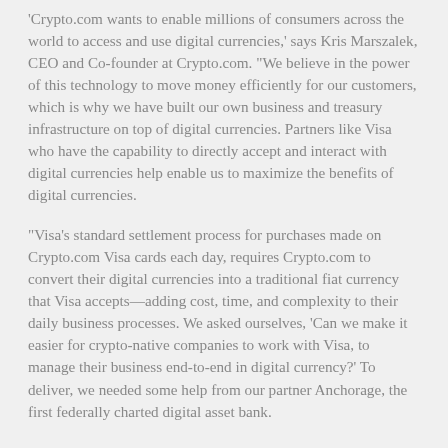'Crypto.com wants to enable millions of consumers across the world to access and use digital currencies,' says Kris Marszalek, CEO and Co-founder at Crypto.com. 'We believe in the power of this technology to move money efficiently for our customers, which is why we have built our own business and treasury infrastructure on top of digital currencies. Partners like Visa who have the capability to directly accept and interact with digital currencies help enable us to maximize the benefits of digital currencies.
'Visa's standard settlement process for purchases made on Crypto.com Visa cards each day, requires Crypto.com to convert their digital currencies into a traditional fiat currency that Visa accepts—adding cost, time, and complexity to their daily business processes. We asked ourselves, 'Can we make it easier for crypto-native companies to work with Visa, to manage their business end-to-end in digital currency?' To deliver, we needed some help from our partner Anchorage, the first federally charted digital asset bank.